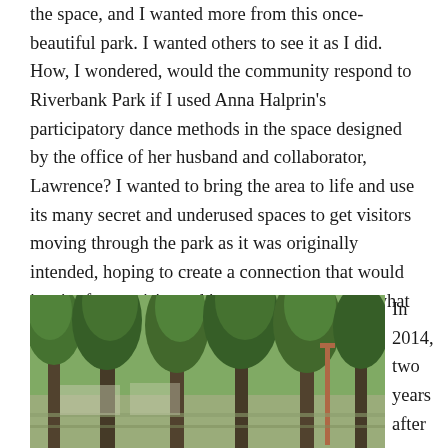the space, and I wanted more from this once-beautiful park. I wanted others to see it as I did. How, I wondered, would the community respond to Riverbank Park if I used Anna Halprin's participatory dance methods in the space designed by the office of her husband and collaborator, Lawrence? I wanted to bring the area to life and use its many secret and underused spaces to get visitors moving through the park as it was originally intended, hoping to create a connection that would inspire future visits and increase awareness to what a resource Flint had in front of its eyes.
[Figure (photo): A photograph of a park with tall green trees lining a pathway, likely Riverbank Park in Flint.]
In 2014, two years after